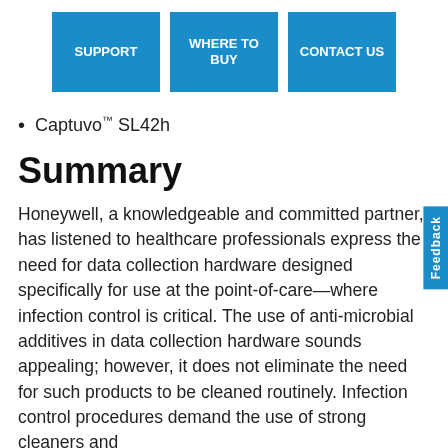SUPPORT | WHERE TO BUY | CONTACT US
Captuvo™ SL42h
Summary
Honeywell, a knowledgeable and committed partner, has listened to healthcare professionals express the need for data collection hardware designed specifically for use at the point-of-care—where infection control is critical. The use of anti-microbial additives in data collection hardware sounds appealing; however, it does not eliminate the need for such products to be cleaned routinely. Infection control procedures demand the use of strong cleaners and